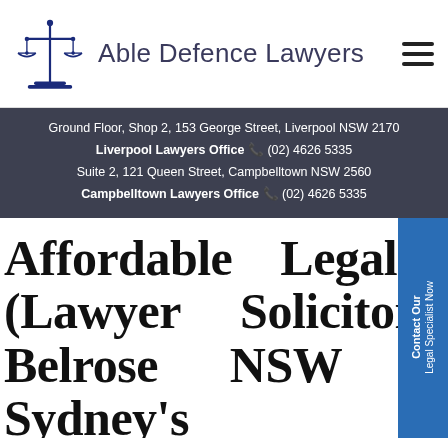Able Defence Lawyers
Ground Floor, Shop 2, 153 George Street, Liverpool NSW 2170
Liverpool Lawyers Office (02) 4626 5335
Suite 2, 121 Queen Street, Campbelltown NSW 2560
Campbelltown Lawyers Office (02) 4626 5335
Affordable Legal Advice (Lawyer Solicitor Near Belrose NSW 2085) Sydney's Northern Beaches
Dealing with a legal matter can be very stressful, given that you have to fill certain legal documents and file them